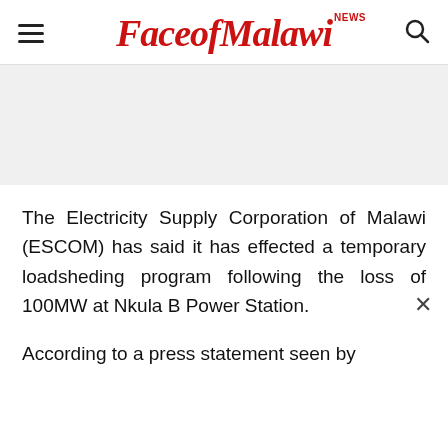FaceofMalawi NEWS
The Electricity Supply Corporation of Malawi (ESCOM) has said it has effected a temporary loadsheding program following the loss of 100MW at Nkula B Power Station.
According to a press statement seen by